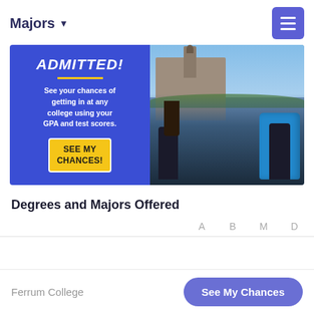Majors ▼
[Figure (photo): Advertisement banner showing blue background with text 'ADMITTED! See your chances of getting in at any college using your GPA and test scores.' with a yellow 'SEE MY CHANCES!' button, alongside a photo of students with backpacks in front of a college building.]
Degrees and Majors Offered
A  B  M  D
Ferrum College  See My Chances